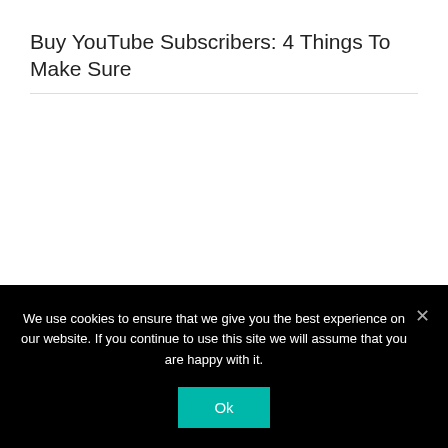Buy YouTube Subscribers: 4 Things To Make Sure
We use cookies to ensure that we give you the best experience on our website. If you continue to use this site we will assume that you are happy with it.